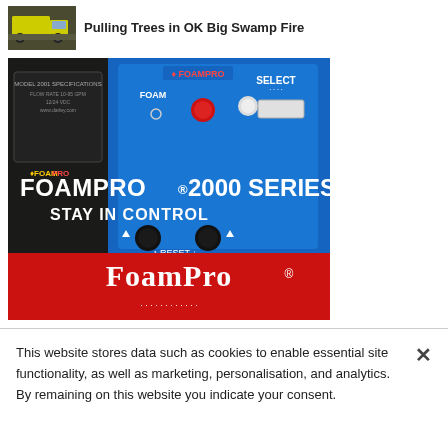[Figure (photo): Small thumbnail of a yellow/green fire truck]
Pulling Trees in OK Big Swamp Fire
[Figure (photo): FoamPro 2000 Series advertisement showing a blue control panel with FOAM and SELECT buttons, knobs, and RESET label. Text overlay reads: FOAMPRO® 2000 SERIES / STAY IN CONTROL. Red strip at bottom with FoamPro logo.]
This website stores data such as cookies to enable essential site functionality, as well as marketing, personalisation, and analytics. By remaining on this website you indicate your consent.